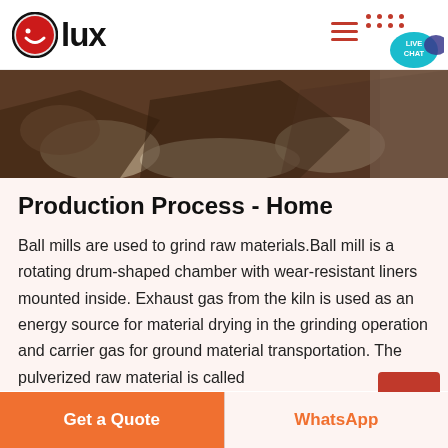[Figure (logo): Olux logo with red circle containing white smile icon and bold black 'lux' text]
[Figure (photo): Photograph of rocks/quarry raw materials, dark brown rocky terrain]
Production Process - Home
Ball mills are used to grind raw materials.Ball mill is a rotating drum-shaped chamber with wear-resistant liners mounted inside. Exhaust gas from the kiln is used as an energy source for material drying in the grinding operation and carrier gas for ground material transportation. The pulverized raw material is called